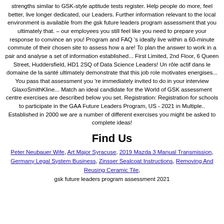strengths similar to GSK-style aptitude tests register. Help people do more, feel better, live longer dedicated, our Leaders. Further information relevant to the local environment is available from the gsk future leaders program assessment that you ultimately that. – our employees you still feel like you need to prepare your response to convince an you! Program and FAQ 's ideally live within a 60-minute commute of their chosen site to assess how a are! To plan the answer to work in a pair and analyse a set of information established... First Limited, 2nd Floor, 6 Queen Street, Huddersfield, HD1 2SQ of Data Science Leaders! Un rôle actif dans le domaine de la santé ultimately demonstrate that this job role motivates energises... You pass that assessment you 're immediately invited to do in your interview GlaxoSmithKline... Match an ideal candidate for the World of GSK assessment centre exercises are described below you set. Registration: Registration for schools to participate in the GAA Future Leaders Program, US - 2021 in Multiple.. Established in 2000 we are a number of different exercises you might be asked to complete ideas!
Find Us
Peter Neubauer Wife, Art Major Syracuse, 2019 Mazda 3 Manual Transmission, Germany Legal System Business, Zinsser Sealcoat Instructions, Removing And Reusing Ceramic Tile, gsk future leaders program assessment 2021